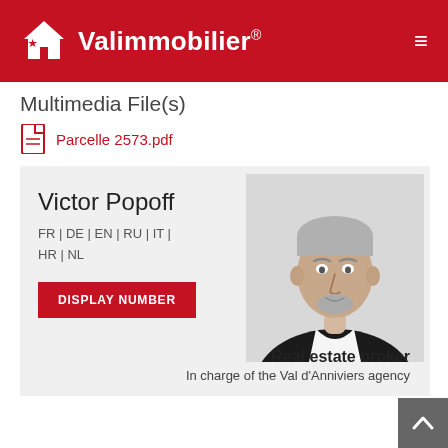Valimmobilier
Multimedia File(s)
Parcelle 2573.pdf
Victor Popoff
FR | DE | EN | RU | IT | HR | NL
DISPLAY NUMBER
[Figure (photo): Professional headshot of Victor Popoff, a man in a dark suit with grey hair and beard]
Real estate broker
In charge of the Val d'Anniviers agency